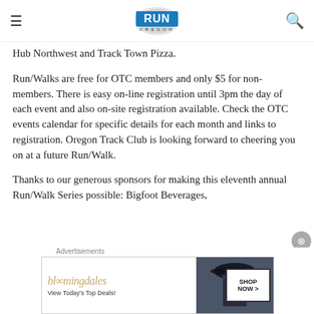Run Oregon
Hub Northwest and Track Town Pizza.
Run/Walks are free for OTC members and only $5 for non-members. There is easy on-line registration until 3pm the day of each event and also on-site registration available. Check the OTC events calendar for specific details for each month and links to registration. Oregon Track Club is looking forward to cheering you on at a future Run/Walk.
Thanks to our generous sponsors for making this eleventh annual Run/Walk Series possible: Bigfoot Beverages,
Advertisements
[Figure (screenshot): Bloomingdale's advertisement banner with text 'bloomingdales', 'View Today's Top Deals!', and 'SHOP NOW >' button, with a photo of a woman in a dark hat]